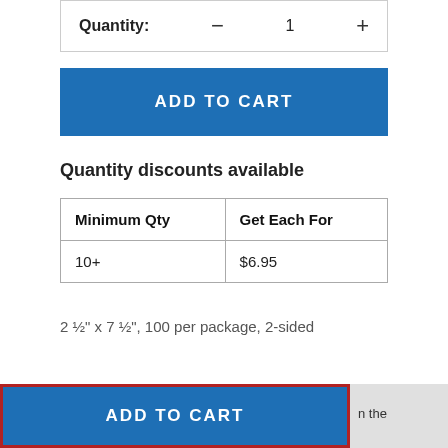Quantity: — 1 +
[Figure (screenshot): ADD TO CART blue button (top)]
Quantity discounts available
| Minimum Qty | Get Each For |
| --- | --- |
| 10+ | $6.95 |
2 ½" x 7 ½", 100 per package, 2-sided
[Figure (screenshot): ADD TO CART blue button (bottom) with red border outline]
n the